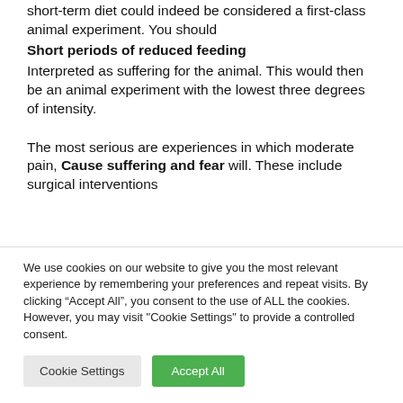short-term diet could indeed be considered a first-class animal experiment. You should
Short periods of reduced feeding
Interpreted as suffering for the animal. This would then be an animal experiment with the lowest three degrees of intensity.
The most serious are experiences in which moderate pain, Cause suffering and fear will. These include surgical interventions
We use cookies on our website to give you the most relevant experience by remembering your preferences and repeat visits. By clicking “Accept All”, you consent to the use of ALL the cookies. However, you may visit "Cookie Settings" to provide a controlled consent.